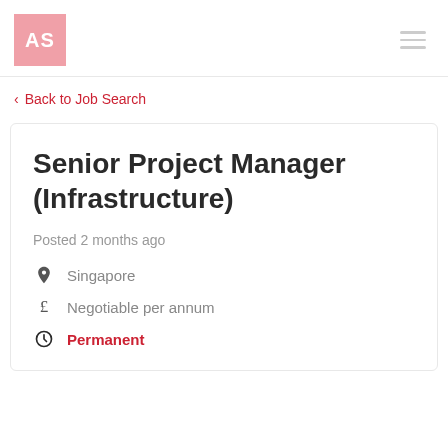AS
Back to Job Search
Senior Project Manager (Infrastructure)
Posted 2 months ago
Singapore
Negotiable per annum
Permanent